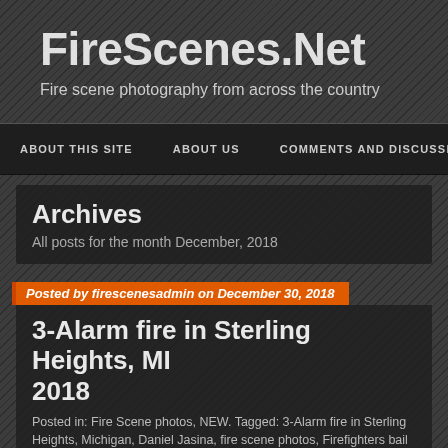FireScenes.Net
Fire scene photography from across the country
ABOUT THIS SITE   ABOUT US   COMMENTS AND DISCUSSION
Archives
All posts for the month December, 2018
Posted by firescenesadmin on December 30, 2018
3-Alarm fire in Sterling Heights, MI 2018
Posted in: Fire Scene photos, NEW. Tagged: 3-Alarm fire in Sterling Heights, Michigan, Daniel Jasina, fire scene photos, Firefighters bail out of second fl